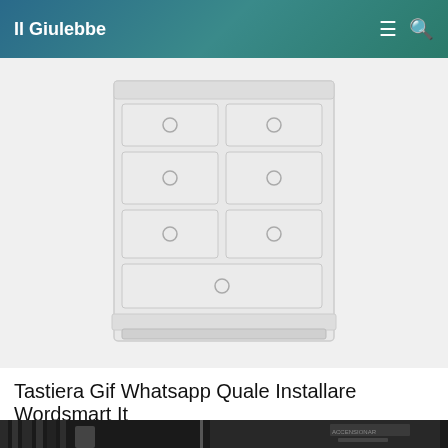Il Giulebbe
Come Aggiungere Gif Su Instagram Stories Grazie A Giphy
[Figure (photo): A white chest of drawers (commode) with multiple drawers and round ring handles, shown on a light grey background. The image is slightly blurred/faded.]
Tastiera Gif Whatsapp Quale Installare Wordsmart It
[Figure (photo): A black and white photograph showing a person near what appears to be a door or elevator, with a sign visible in the background.]